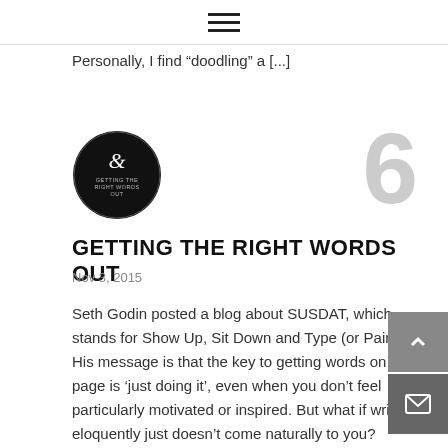≡
Personally, I find "doodling" a [...]
[Figure (logo): Black circular logo with ampersand symbol and text 'Getting the Right Words Out']
6
GETTING THE RIGHT WORDS OUT
Nov 3, 2015
Seth Godin posted a blog about SUSDAT, which stands for Show Up, Sit Down and Type (or Paint). His message is that the key to getting words on the page is 'just doing it', even when you don't feel particularly motivated or inspired. But what if writing eloquently just doesn't come naturally to you? Personally [...]